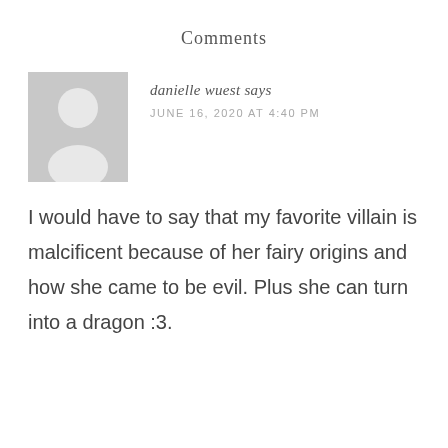Comments
[Figure (illustration): Generic grey avatar placeholder image showing a silhouette of a person (head and shoulders) on a light grey background]
danielle wuest says
JUNE 16, 2020 AT 4:40 PM
I would have to say that my favorite villain is malcificent because of her fairy origins and how she came to be evil. Plus she can turn into a dragon :3.